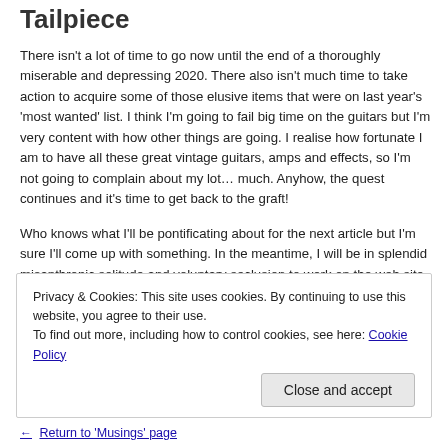Tailpiece
There isn't a lot of time to go now until the end of a thoroughly miserable and depressing 2020. There also isn't much time to take action to acquire some of those elusive items that were on last year's 'most wanted' list. I think I'm going to fail big time on the guitars but I'm very content with how other things are going. I realise how fortunate I am to have all these great vintage guitars, amps and effects, so I'm not going to complain about my lot… much. Anyhow, the quest continues and it's time to get back to the graft!
Who knows what I'll be pontificating about for the next article but I'm sure I'll come up with something. In the meantime, I will be in splendid misanthropic solitude and voluntary seclusion to work on the web site and play vintage guitars. Sounds good to me. Until
Privacy & Cookies: This site uses cookies. By continuing to use this website, you agree to their use.
To find out more, including how to control cookies, see here: Cookie Policy
Close and accept
← Return to 'Musings' page